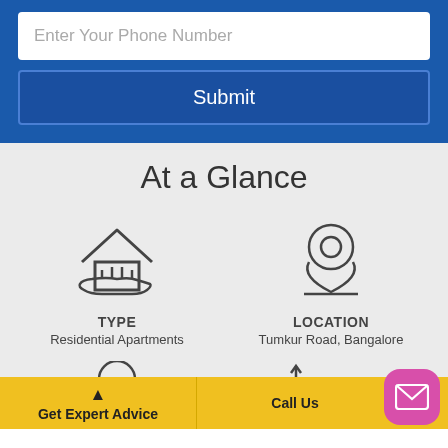Enter Your Phone Number
Submit
At a Glance
[Figure (illustration): House/home icon with hand underneath representing property type]
TYPE
Residential Apartments
[Figure (illustration): Location/map pin icon representing location]
LOCATION
Tumkur Road, Bangalore
[Figure (illustration): Partial person/developer icon at bottom left]
[Figure (illustration): Partial bed/room size icon at bottom right]
Get Expert Advice
Call Us
[Figure (illustration): Mail/envelope icon button in pink rounded square]